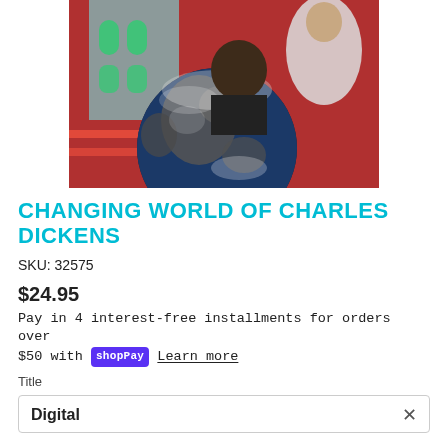[Figure (photo): Book cover or promotional image showing a globe (Earth) in the foreground with colorful historical figures and architecture in the background, for 'Changing World of Charles Dickens']
CHANGING WORLD OF CHARLES DICKENS
SKU: 32575
$24.95
Pay in 4 interest-free installments for orders over $50 with shopPay Learn more
Title
Digital